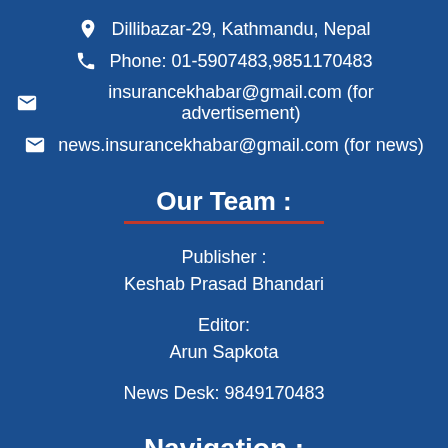Dillibazar-29, Kathmandu, Nepal
Phone: 01-5907483,9851170483
insurancekhabar@gmail.com (for advertisement)
news.insurancekhabar@gmail.com (for news)
Our Team :
Publisher :
Keshab Prasad Bhandari
Editor:
Arun Sapkota
News Desk: 9849170483
Navigation :